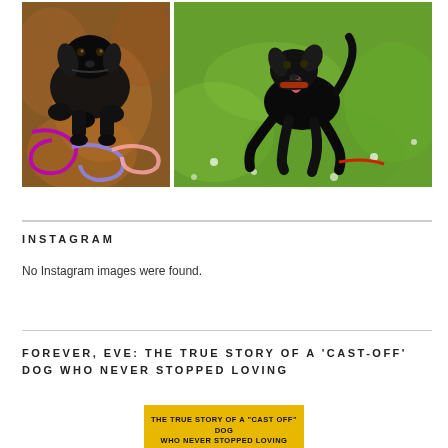[Figure (photo): Two photos of black Labrador dogs side by side. Left photo: black Lab lying on a brown furry rug with a colorful rope toy. Right photo: black Lab running on green grass with tongue out.]
INSTAGRAM
No Instagram images were found.
FOREVER, EVE: THE TRUE STORY OF A ‘CAST-OFF’ DOG WHO NEVER STOPPED LOVING
[Figure (illustration): Book cover with yellow background showing text: THE TRUE STORY OF A "CAST OFF" DOG WHO NEVER STOPPED LOVING]